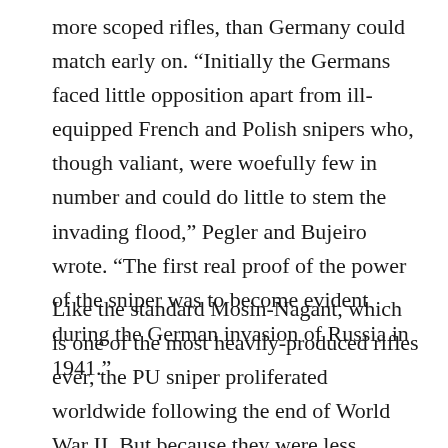more scoped rifles, than Germany could match early on. “Initially the Germans faced little opposition apart from ill-equipped French and Polish snipers who, though valiant, were woefully few in number and could do little to stem the invading flood,” Pegler and Bujeiro wrote. “The first real proof of the power of the sniper was to become evident during the German invasion of Russia in 1941.”
Like the standard Mosin-Nagant, which is one of the most heavily-produced rifles ever, the PU sniper proliferated worldwide following the end of World War II. But because they were less common than the millions of unscoped Mosins